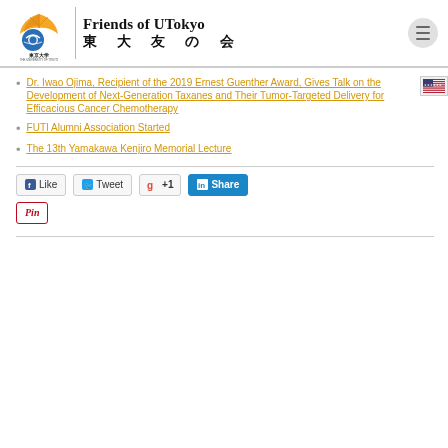Friends of UTokyo 東大友の会
Dr. Iwao Ojima, Recipient of the 2019 Ernest Guenther Award, Gives Talk on the Development of Next-Generation Taxanes and Their Tumor-Targeted Delivery for Efficacious Cancer Chemotherapy
FUTI Alumni Association Started
The 13th Yamakawa Kenjiro Memorial Lecture
[Figure (infographic): Social sharing buttons: Like (Facebook), Tweet (Twitter), +1 (Google+), Share (LinkedIn), Pin it (Pinterest)]